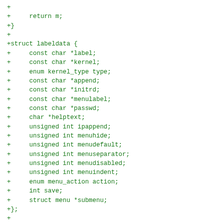+
+     return m;
+}
+
+struct labeldata {
+     const char *label;
+     const char *kernel;
+     enum kernel_type type;
+     const char *append;
+     const char *initrd;
+     const char *menulabel;
+     const char *passwd;
+     char *helptext;
+     unsigned int ipappend;
+     unsigned int menuhide;
+     unsigned int menudefault;
+     unsigned int menuseparator;
+     unsigned int menudisabled;
+     unsigned int menuindent;
+     enum menu_action action;
+     int save;
+     struct menu *submenu;
+};
+
+/* Menu currently being parsed */
+static struct menu *current_menu;
+
+static void clear_label_data(struct labeldata *ld)
+{
+     refstr_put(ld->label);
+     refstr_put(ld->kernel);